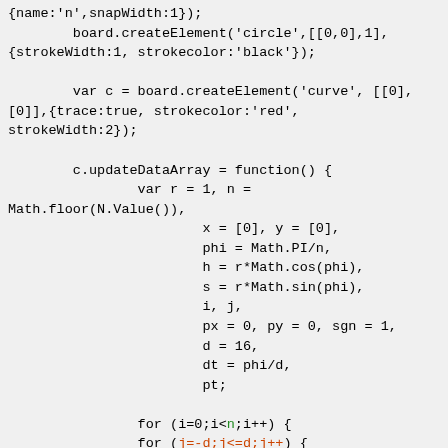Code snippet showing JavaScript board element creation with curve update function including for loops with colored variable references (n in green, j=-d;j<=d;j++ in red-orange, pt = dt*j in green)